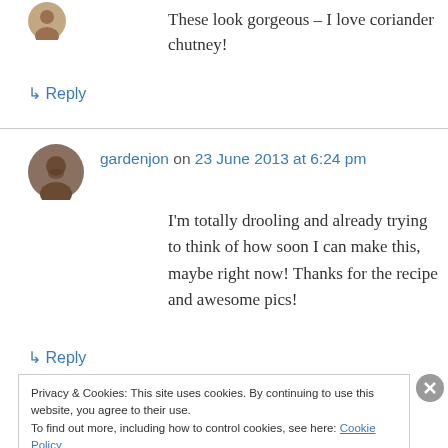[Figure (photo): Small circular avatar photo at top left]
These look gorgeous – I love coriander chutney!
↳ Reply
[Figure (photo): Circular avatar photo of gardenjon, a bearded man]
gardenjon on 23 June 2013 at 6:24 pm
I'm totally drooling and already trying to think of how soon I can make this, maybe right now! Thanks for the recipe and awesome pics!
↳ Reply
Privacy & Cookies: This site uses cookies. By continuing to use this website, you agree to their use.
To find out more, including how to control cookies, see here: Cookie Policy